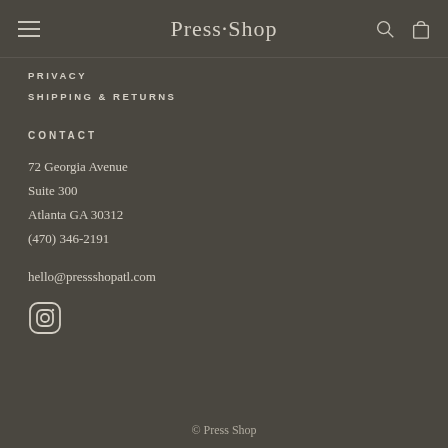Press·Shop
PRIVACY
SHIPPING & RETURNS
CONTACT
72 Georgia Avenue
Suite 300
Atlanta GA 30312
(470) 346-2191
hello@pressshopatl.com
[Figure (illustration): Instagram icon (circle with rounded square and small circle inside)]
© Press Shop